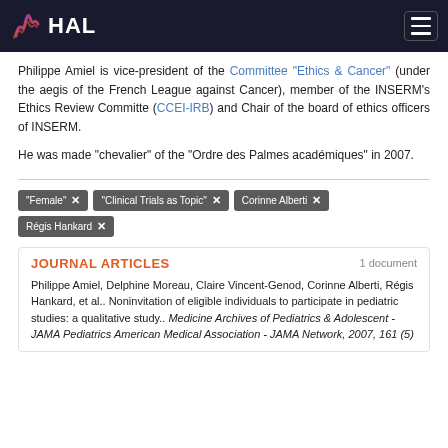HAL
Philippe Amiel is vice-president of the Committee "Ethics & Cancer" (under the aegis of the French League against Cancer), member of the INSERM's Ethics Review Committe (CCEI-IRB) and Chair of the board of ethics officers of INSERM.
He was made "chevalier" of the "Ordre des Palmes académiques" in 2007.
"Female" ×
"Clinical Trials as Topic" ×
Corinne Alberti ×
Régis Hankard ×
JOURNAL ARTICLES
1 document
Philippe Amiel, Delphine Moreau, Claire Vincent-Genod, Corinne Alberti, Régis Hankard, et al.. Noninvitation of eligible individuals to participate in pediatric studies: a qualitative study.. Medicine Archives of Pediatrics & Adolescent - JAMA Pediatrics American Medical Association - JAMA Network, 2007, 161 (5)